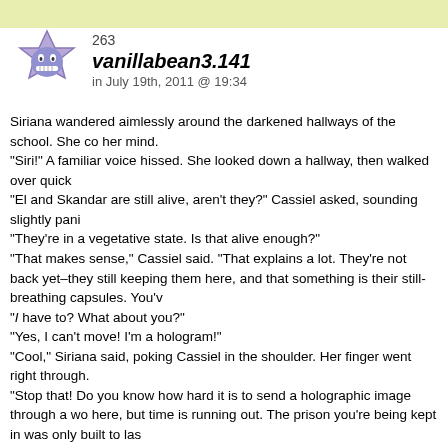[Figure (illustration): User avatar: a cartoon blue/purple star-shaped character with a grinning face]
263
vanillabean3.141
in July 19th, 2011 @ 19:34
Siriana wandered aimlessly around the darkened hallways of the school. She co her mind.
"Siri!" A familiar voice hissed. She looked down a hallway, then walked over quick
"El and Skandar are still alive, aren't they?" Cassiel asked, sounding slightly pani
"They're in a vegetative state. Is that alive enough?"
"That makes sense," Cassiel said. "That explains a lot. They're not back yet–they still keeping them here, and that something is their still-breathing capsules. You'v
"I have to? What about you?"
"Yes, I can't move! I'm a hologram!"
"Cool," Siriana said, poking Cassiel in the shoulder. Her finger went right through.
"Stop that! Do you know how hard it is to send a holographic image through a wo here, but time is running out. The prison you're being kept in was only built to las
"So what's happening? Back at your end?"
"We're orbiting a black hole, just inside the event horizon. The prison is burning r black hole and once it runs out we'll be sucked in. I'm not leaving you three."
"How long do you have?"
"I don't know how time flows at this end, but on my end I have one hundred hours
"So what do I do?"
"Irreparably destroy El and Skandar's bodies. If there is no way their bodies in yo wake up in the prison. And Siri…"
"What?"
"You'll have to die too."
"That's fine, I don't care."
"You'll have to really die. I mean completely, utterly, destroyed and dead. You onl
"Cass, one more thing. Why were you set on a course for a black hole?"